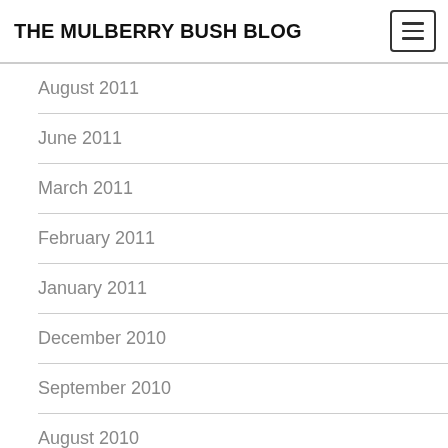THE MULBERRY BUSH BLOG
August 2011
June 2011
March 2011
February 2011
January 2011
December 2010
September 2010
August 2010
April 2010
March 2010